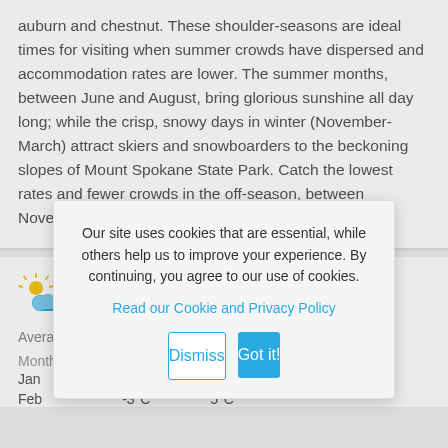auburn and chestnut. These shoulder-seasons are ideal times for visiting when summer crowds have dispersed and accommodation rates are lower. The summer months, between June and August, bring glorious sunshine all day long; while the crisp, snowy days in winter (November-March) attract skiers and snowboarders to the beckoning slopes of Mount Spokane State Park. Catch the lowest rates and fewer crowds in the off-season, between November and March.
[Figure (infographic): Weather section with sun-and-cloud icon and partial 'We' text heading, average temperature label, month and data rows showing Jan, Feb with temperature and number values, partially obscured by cookie consent modal]
Our site uses cookies that are essential, while others help us to improve your experience. By continuing, you agree to our use of cookies. Read our Cookie and Privacy Policy
Dismiss   Got it!